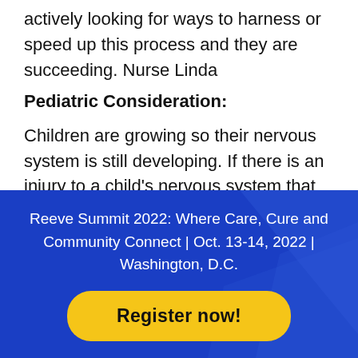actively looking for ways to harness or speed up this process and they are succeeding. Nurse Linda
Pediatric Consideration:
Children are growing so their nervous system is still developing. If there is an injury to a child's nervous system that has not yet developed, the recovery process might be enhanced by natural development. Stimulation by activity below the level of injury is important to a child's recovery and health by
Reeve Summit 2022: Where Care, Cure and Community Connect | Oct. 13-14, 2022 | Washington, D.C.
Register now!